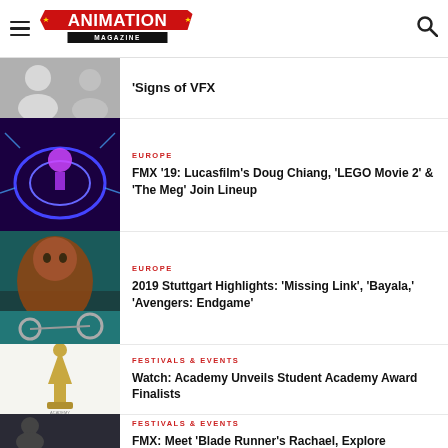Animation Magazine
Signs of VFX (partial, cut off)
EUROPE
FMX '19: Lucasfilm's Doug Chiang, 'LEGO Movie 2' & 'The Meg' Join Lineup
EUROPE
2019 Stuttgart Highlights: 'Missing Link', 'Bayala,' 'Avengers: Endgame'
FESTIVALS & EVENTS
Watch: Academy Unveils Student Academy Award Finalists
FESTIVALS & EVENTS
FMX: Meet 'Blade Runner's Rachael, Explore